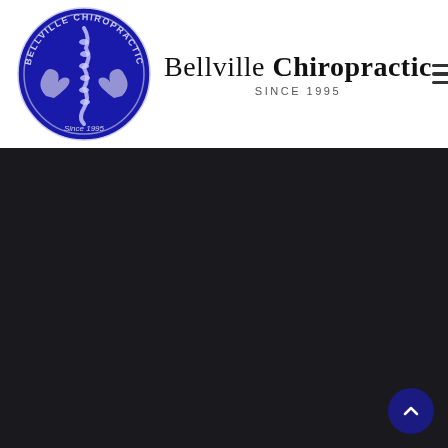[Figure (logo): Bellville Chiropractic circular logo with blue background, spine illustration and hands, text 'BELLVILLE CHIROPRACTIC' around top arc and 'Since 1995' at bottom]
Bellville Chiropractic SINCE 1995